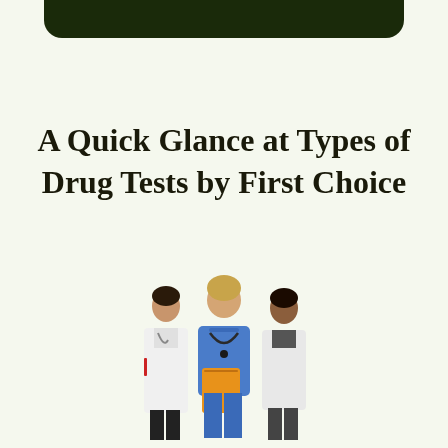[Figure (illustration): Dark rounded header bar at top of page]
A Quick Glance at Types of Drug Tests by First Choice
[Figure (photo): Three medical professionals standing together: a nurse in blue scrubs holding an orange folder in the center, flanked by two doctors in white lab coats]